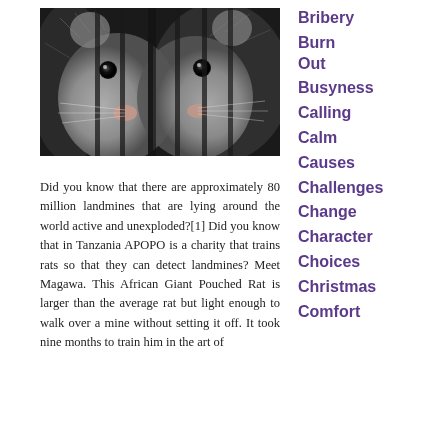[Figure (photo): Close-up photo of a rat (African Giant Pouched Rat) face behind metal bars/cage, grey fur, dark eyes visible]
Did you know that there are approximately 80 million landmines that are lying around the world active and unexploded?[1]  Did you know that in Tanzania APOPO is a charity that trains rats so that they can detect landmines?  Meet Magawa.  This African Giant Pouched Rat is larger than the average rat but light enough to walk over a mine without setting it off.  It took nine months to train him in the art of
Bribery
Burn Out
Busyness
Calling
Calm
Causes
Challenges
Change
Character
Choices
Christmas
Comfort